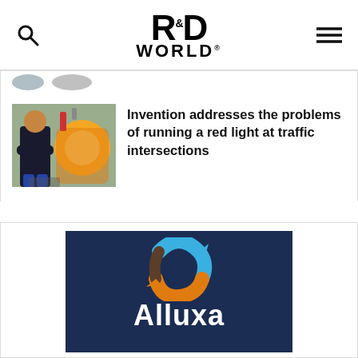R&D WORLD — navigation bar with search and menu icons
[Figure (photo): Man in black shirt standing in front of large orange traffic signal equipment in a workshop]
Invention addresses the problems of running a red light at traffic intersections
[Figure (logo): Alluxa company logo — circular arrow icon in blue and orange on dark navy background with white Alluxa text]